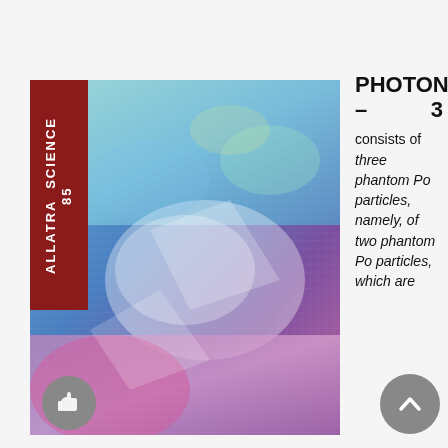[Figure (illustration): Book cover with holographic/iridescent abstract pattern in blues, pinks, purples. A red vertical banner on the left reads 'ALLATRA SCIENCE 85' vertically. The image has a grid-like texture overlay.]
PHOTON – 3
consists of three phantom Po particles, namely, of two phantom Po particles, which are